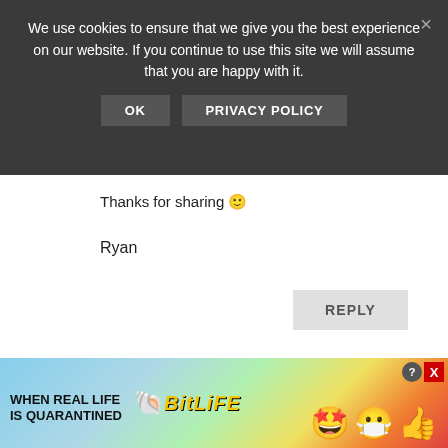We use cookies to ensure that we give you the best experience on our website. If you continue to use this site we will assume that you are happy with it.
OK   PRIVACY POLICY
Thanks for sharing 🙂
Ryan
REPLY
Buddy on May 24,
[Figure (screenshot): Advertisement banner for BitLife game: rainbow background with text WHEN REAL LIFE IS QUARANTINED and BitLife logo with emojis]